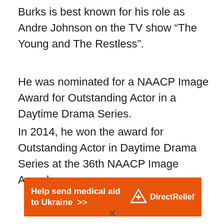Burks is best known for his role as Andre Johnson on the TV show “The Young and The Restless”.
He was nominated for a NAACP Image Award for Outstanding Actor in a Daytime Drama Series.
In 2014, he won the award for Outstanding Actor in Daytime Drama Series at the 36th NAACP Image Awards.
[Figure (other): Orange advertisement banner for Direct Relief reading 'Help send medical aid to Ukraine >>' with Direct Relief logo on the right.]